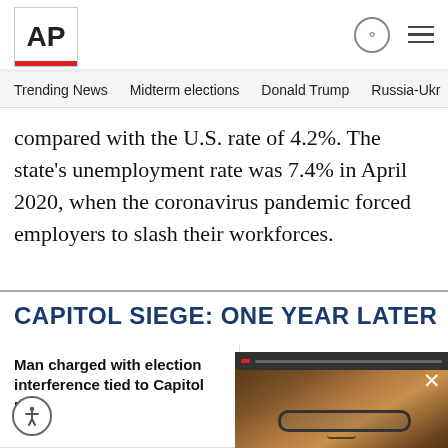AP
Trending News  Midterm elections  Donald Trump  Russia-Ukr
compared with the U.S. rate of 4.2%. The state's unemployment rate was 7.4% in April 2020, when the coronavirus pandemic forced employers to slash their workforces.
CAPITOL SIEGE: ONE YEAR LATER
Man charged with election interference tied to Capitol riot
DHS w lawma testim
p who testified against l avoids prison for Jan. 6
Man s for inv riot
[Figure (photo): Video overlay showing a man with glasses, with playback controls and a close button]